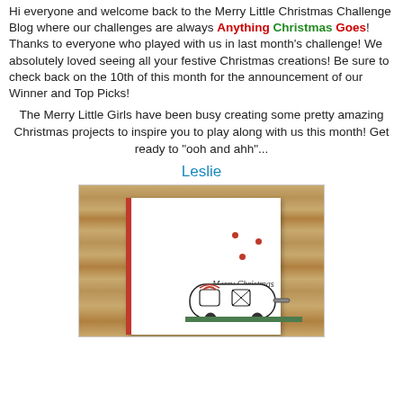Hi everyone and welcome back to the Merry Little Christmas Challenge Blog where our challenges are always Anything Christmas Goes! Thanks to everyone who played with us in last month's challenge! We absolutely loved seeing all your festive Christmas creations! Be sure to check back on the 10th of this month for the announcement of our Winner and Top Picks!
The Merry Little Girls have been busy creating some pretty amazing Christmas projects to inspire you to play along with us this month! Get ready to "ooh and ahh"...
Leslie
[Figure (photo): A handmade Christmas card with a white card front featuring a red-sided edge, three red dots, 'Merry Christmas' text in script, and a vintage camper illustration at the bottom, placed against a wooden plank background.]